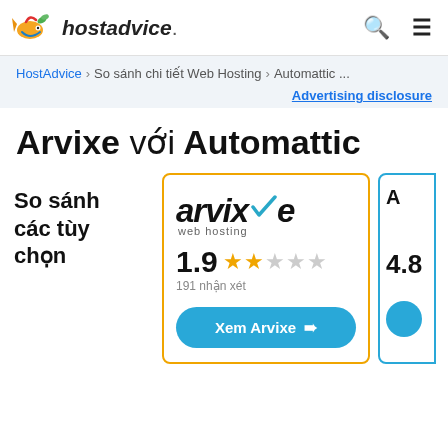[Figure (logo): HostAdvice logo with fish mascot and italic wordmark]
HostAdvice (logo) | search icon | menu icon
HostAdvice > So sánh chi tiết Web Hosting > Automattic ...
Advertising disclosure
Arvixe với Automattic
So sánh các tùy chọn
[Figure (logo): Arvixe web hosting logo with teal checkmark, rating 1.9 stars, 191 nhận xét, Xem Arvixe button]
4.8 (partially visible second card)